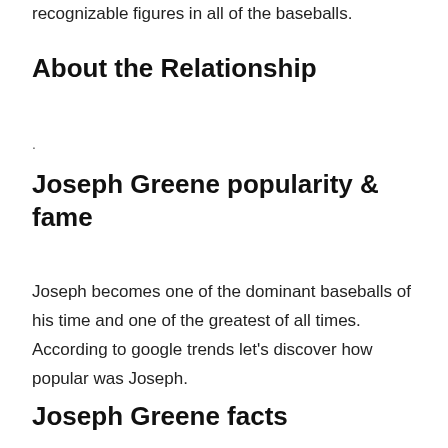recognizable figures in all of the baseballs.
About the Relationship
·
Joseph Greene popularity & fame
Joseph becomes one of the dominant baseballs of his time and one of the greatest of all times. According to google trends let's discover how popular was Joseph.
Joseph Greene facts